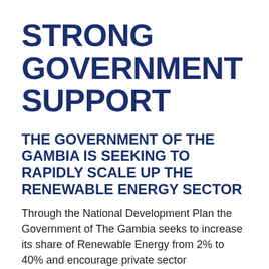STRONG GOVERNMENT SUPPORT
THE GOVERNMENT OF THE GAMBIA IS SEEKING TO RAPIDLY SCALE UP THE RENEWABLE ENERGY SECTOR
Through the National Development Plan the Government of The Gambia seeks to increase its share of Renewable Energy from 2% to 40% and encourage private sector participation to provide 24/7 access to electricity to all Gambians. The Gambia is also a signatory of the Paris Climate